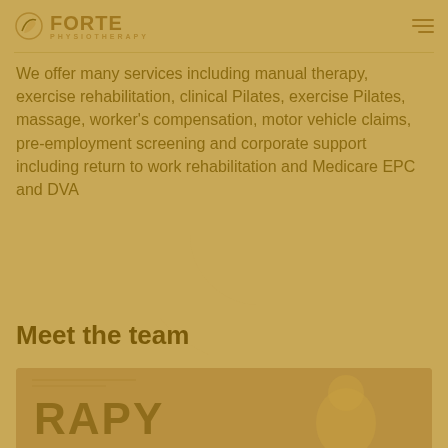FORTE PHYSIOTHERAPY
We offer many services including manual therapy, exercise rehabilitation, clinical Pilates, exercise Pilates, massage, worker's compensation, motor vehicle claims, pre-employment screening and corporate support including return to work rehabilitation and Medicare EPC and DVA
Book an appointment
Meet the team
[Figure (photo): Photo of a team member with partial text 'RAPY' visible, warm golden-brown toned image]